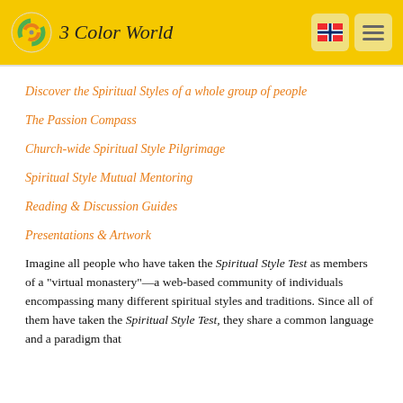3 Color World
Discover the Spiritual Styles of a whole group of people
The Passion Compass
Church-wide Spiritual Style Pilgrimage
Spiritual Style Mutual Mentoring
Reading & Discussion Guides
Presentations & Artwork
Imagine all people who have taken the Spiritual Style Test as members of a "virtual monastery"—a web-based community of individuals encompassing many different spiritual styles and traditions. Since all of them have taken the Spiritual Style Test, they share a common language and a paradigm that